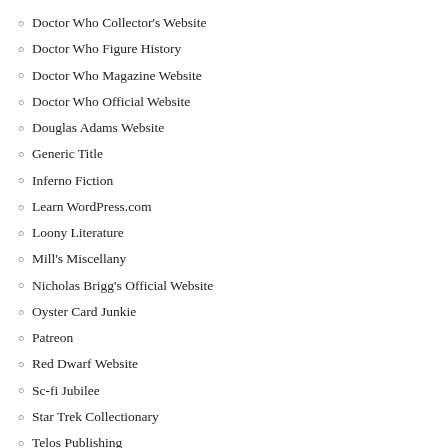Doctor Who Collector's Website
Doctor Who Figure History
Doctor Who Magazine Website
Doctor Who Official Website
Douglas Adams Website
Generic Title
Inferno Fiction
Learn WordPress.com
Loony Literature
Mill's Miscellany
Nicholas Brigg's Official Website
Oyster Card Junkie
Patreon
Red Dwarf Website
Sc-fi Jubilee
Star Trek Collectionary
Telos Publishing
Terry Deary's Website